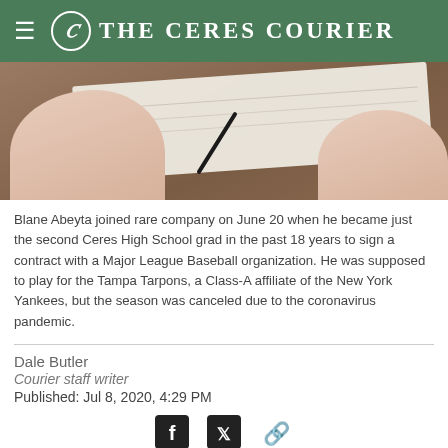The Ceres Courier
[Figure (photo): Hands signing a document/contract on a wooden desk with a pen]
Blane Abeyta joined rare company on June 20 when he became just the second Ceres High School grad in the past 18 years to sign a contract with a Major League Baseball organization. He was supposed to play for the Tampa Tarpons, a Class-A affiliate of the New York Yankees, but the season was canceled due to the coronavirus pandemic.
Dale Butler
Courier staff writer
Published: Jul 8, 2020, 4:29 PM
Blane Abeyta joined rare company on June 20 when he became just the second Ceres High School grad in the past 18 years to ink